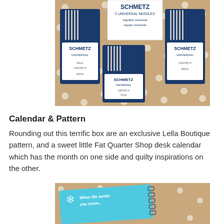[Figure (photo): Three packages of Schmetz Universal sewing needles arranged on a tan polka-dot fabric background. Center package shows label reading: SCHMETZ, 5 UNIVERSAL NEEDLES, Aiguilles Universal, Agujas Universal. Left package labeled 90/14, center-bottom package labeled 70/10, right package labeled 80/12.]
Calendar & Pattern
Rounding out this terrific box are an exclusive Lella Boutique pattern, and a sweet little Fat Quarter Shop desk calendar which has the month on one side and quilty inspirations on the other.
[Figure (photo): Partial view of a light blue desk calendar with snowflake decoration and spiral binding, on a tan polka-dot background. Text visible: 'When life sends you snow...' or similar inspirational phrase.]